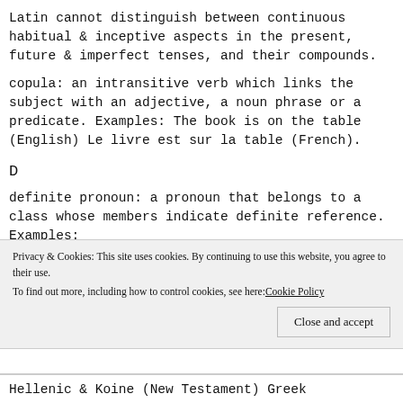Latin cannot distinguish between continuous habitual & inceptive aspects in the present, future & imperfect tenses, and their compounds.
copula: an intransitive verb which links the subject with an adjective, a noun phrase or a predicate. Examples: The book is on the table (English) Le livre est sur la table (French).
D
definite pronoun: a pronoun that belongs to a class whose members indicate definite reference. Examples:
Privacy & Cookies: This site uses cookies. By continuing to use this website, you agree to their use. To find out more, including how to control cookies, see here: Cookie Policy
Hellenic & Koine (New Testament) Greek